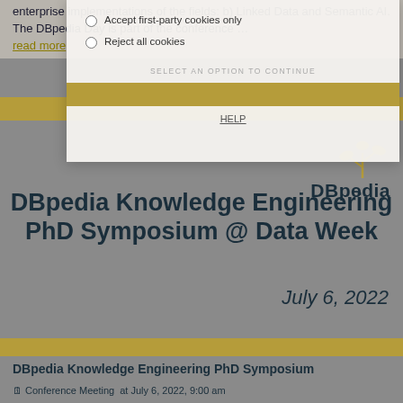enterprise implementations of the fields: b) Linked Data and Semantic AI. The DBpedia Day is part of the conference … read more
[Figure (screenshot): Cookie consent overlay with radio buttons: 'Accept first-party cookies only' and 'Reject all cookies', a gold confirm button, and a HELP link]
[Figure (logo): DBpedia logo with sprout/tree icon and bold 'DBpedia' text]
DBpedia Knowledge Engineering PhD Symposium @ Data Week
July 6, 2022
DBpedia Knowledge Engineering PhD Symposium
Conference Meeting at July 6, 2022, 9:00 am